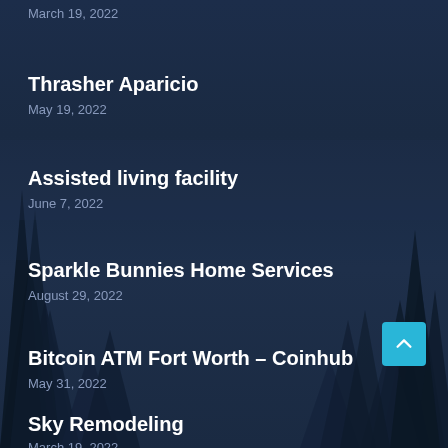March 19, 2022
Thrasher Aparicio
May 19, 2022
Assisted living facility
June 7, 2022
Sparkle Bunnies Home Services
August 29, 2022
Bitcoin ATM Fort Worth – Coinhub
May 31, 2022
Sky Remodeling
March 19, 2022